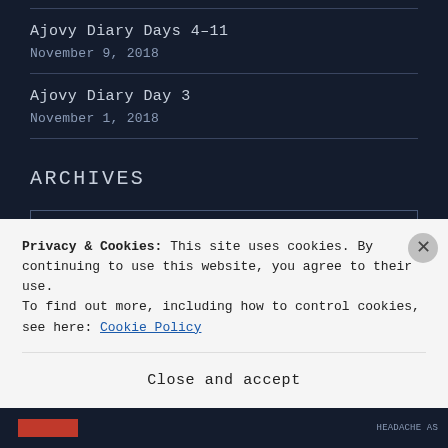Ajovy Diary Days 4-11
November 9, 2018
Ajovy Diary Day 3
November 1, 2018
ARCHIVES
Select Month
Privacy & Cookies: This site uses cookies. By continuing to use this website, you agree to their use. To find out more, including how to control cookies, see here: Cookie Policy
Close and accept